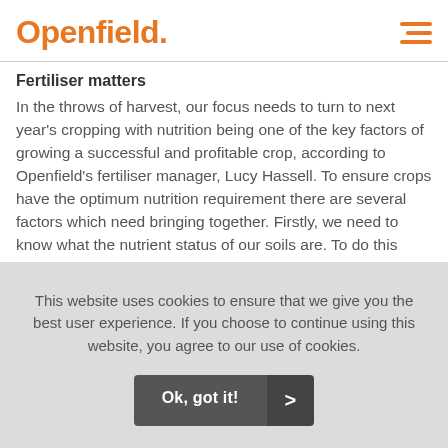Openfield.
Fertiliser matters
In the throws of harvest, our focus needs to turn to next year's cropping with nutrition being one of the key factors of growing a successful and profitable crop, according to Openfield's fertiliser manager, Lucy Hassell. To ensure crops have the optimum nutrition requirement there are several factors which need bringing together. Firstly, we need to know what the nutrient status of our soils are. To do this accurate broad- spectrum soil sampling should be carried
This website uses cookies to ensure that we give you the best user experience. If you choose to continue using this website, you agree to our use of cookies.